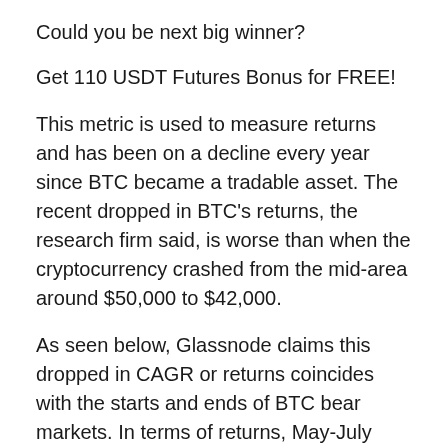Could you be next big winner?
Get 110 USDT Futures Bonus for FREE!
This metric is used to measure returns and has been on a decline every year since BTC became a tradable asset. The recent dropped in BTC's returns, the research firm said, is worse than when the cryptocurrency crashed from the mid-area around $50,000 to $42,000.
As seen below, Glassnode claims this dropped in CAGR or returns coincides with the starts and ends of BTC bear markets. In terms of returns, May-July 2021 behaved similarly and even recorded a steeper decline than today's negative 30% drop in this metric.